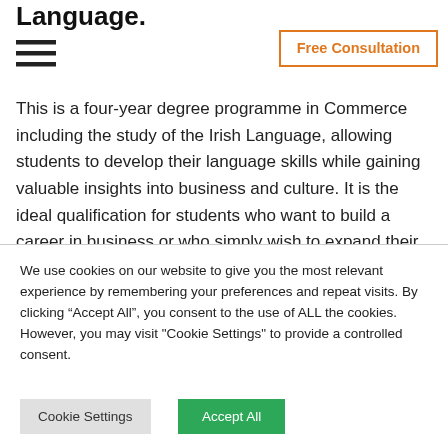Language.
[Figure (other): Hamburger menu icon with three horizontal lines]
Free Consultation
This is a four-year degree programme in Commerce including the study of the Irish Language, allowing students to develop their language skills while gaining valuable insights into business and culture. It is the ideal qualification for students who want to build a career in business or who simply wish to expand their career choices. A great advantage that students studying this course have is that in year three the programme is divided
We use cookies on our website to give you the most relevant experience by remembering your preferences and repeat visits. By clicking “Accept All”, you consent to the use of ALL the cookies. However, you may visit "Cookie Settings" to provide a controlled consent.
Cookie Settings
Accept All